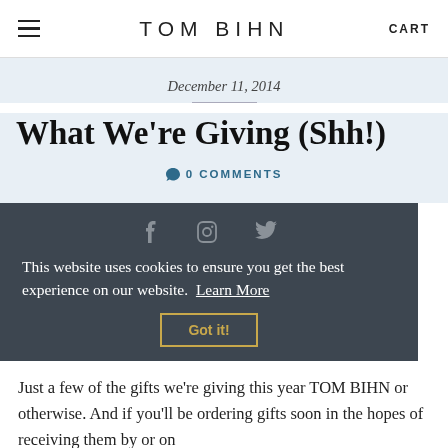TOM BIHN  CART
December 11, 2014
What We're Giving (Shh!)
● 0 COMMENTS
This website uses cookies to ensure you get the best experience on our website. Learn More
Got it!
Just a few of the gifts we're giving this year TOM BIHN or otherwise. And if you'll be ordering gifts soon in the hopes of receiving them by or on